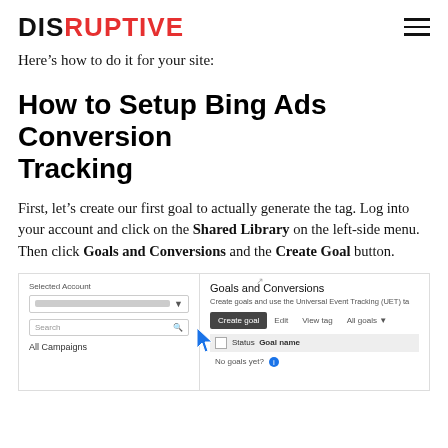DISRUPTIVE
Here’s how to do it for your site:
How to Setup Bing Ads Conversion Tracking
First, let’s create our first goal to actually generate the tag. Log into your account and click on the Shared Library on the left-side menu. Then click Goals and Conversions and the Create Goal button.
[Figure (screenshot): Screenshot of Bing Ads interface showing left sidebar with Selected Account, Search, and All Campaigns, and right panel showing Goals and Conversions page with Create goal button highlighted by a blue arrow cursor.]